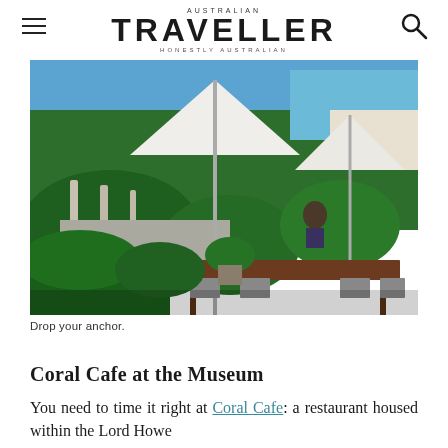AUSTRALIAN TRAVELLER HONESTLY AUSTRALIAN
[Figure (photo): Outdoor cafe/restaurant seating area with wooden tables and chairs under large white umbrellas, surrounded by lush green tropical plants. Ocean and blue sky visible in the background. A person is seated at a table in the distance.]
Drop your anchor.
Coral Cafe at the Museum
You need to time it right at Coral Cafe: a restaurant housed within the Lord Howe